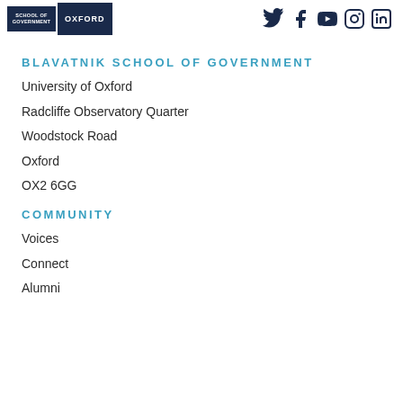[Figure (logo): Blavatnik School of Government and Oxford University logos side by side on dark navy background]
[Figure (logo): Social media icons: Twitter, Facebook, YouTube, Instagram, LinkedIn in dark navy]
BLAVATNIK SCHOOL OF GOVERNMENT
University of Oxford
Radcliffe Observatory Quarter
Woodstock Road
Oxford
OX2 6GG
COMMUNITY
Voices
Connect
Alumni